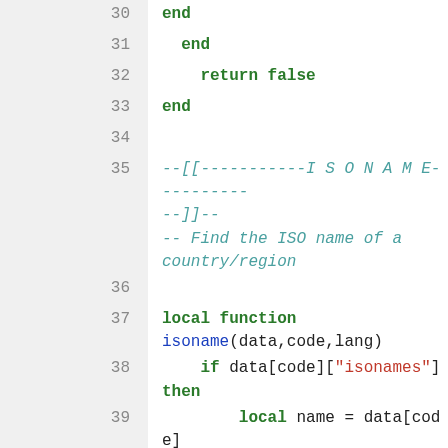30    end
31  end
32    return false
33 end
34
35 --[[-----------I S O N A M E----------]]--
   -- Find the ISO name of a country/region
36
37 local function isoname(data,code,lang)
38    if data[code]["isonames"] then
39       local name = data[code]["isodisplaynames"] and data[code]["isodisplaynames"][lang]
        or data[code]